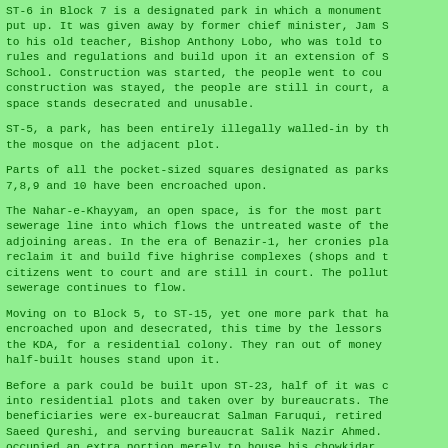ST-6 in Block 7 is a designated park in which a monument was put up. It was given away by former chief minister, Jam S to his old teacher, Bishop Anthony Lobo, who was told to rules and regulations and build upon it an extension of S School. Construction was started, the people went to cou construction was stayed, the people are still in court, a space stands desecrated and unusable.
ST-5, a park, has been entirely illegally walled-in by th the mosque on the adjacent plot.
Parts of all the pocket-sized squares designated as parks 7,8,9 and 10 have been encroached upon.
The Nahar-e-Khayyam, an open space, is for the most part sewerage line into which flows the untreated waste of the adjoining areas. In the era of Benazir-1, her cronies pla reclaim it and build five highrise complexes (shops and t citizens went to court and are still in court. The pollut sewerage continues to flow.
Moving on to Block 5, to ST-15, yet one more park that ha encroached upon and desecrated, this time by the lessors the KDA, for a residential colony. They ran out of money half-built houses stand upon it.
Before a park could be built upon ST-23, half of it was c into residential plots and taken over by bureaucrats. The beneficiaries were ex-bureaucrat Salman Faruqui, retired Saeed Qureshi, and serving bureaucrat Salik Nazir Ahmed. occupied an extra portion merely to house his chowkidar.